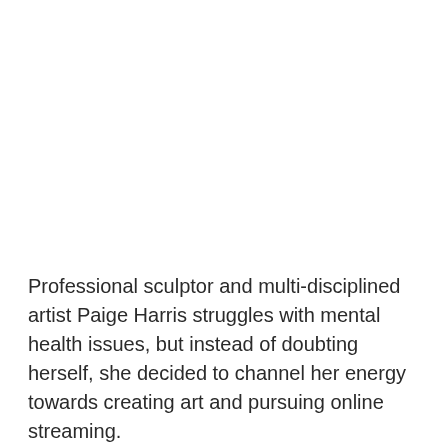Professional sculptor and multi-disciplined artist Paige Harris struggles with mental health issues, but instead of doubting herself, she decided to channel her energy towards creating art and pursuing online streaming.